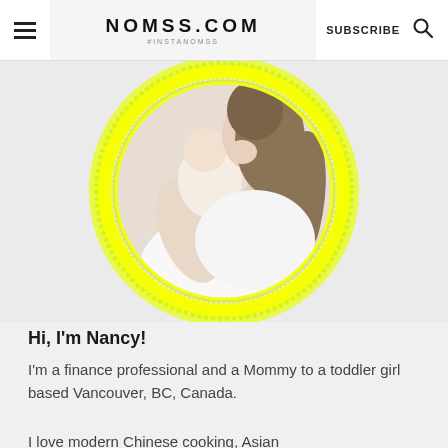NOMSS.COM #INSTANOMSS | SUBSCRIBE
[Figure (photo): Profile photo of a woman holding and nuzzling a baby, shown inside a circular frame with a bright yellow ring border]
Hi, I'm Nancy!
I'm a finance professional and a Mommy to a toddler girl based Vancouver, BC, Canada.
I love modern Chinese cooking, Asian